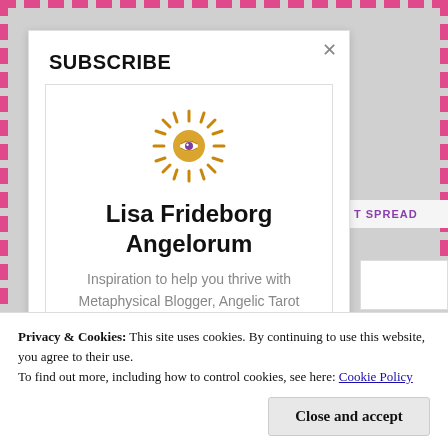SUBSCRIBE
[Figure (illustration): Sun with eye logo / icon for Lisa Frideborg Angelorum blog]
Lisa Frideborg Angelorum
Inspiration to help you thrive with Metaphysical Blogger, Angelic Tarot Reader and Angel Reiki Healer Lisa Frideborg. Free monthly newsletter. The weekly paid subscription includes a pick-a-pile message, special offers and more.
T SPREAD
Privacy & Cookies: This site uses cookies. By continuing to use this website, you agree to their use.
To find out more, including how to control cookies, see here: Cookie Policy
Close and accept